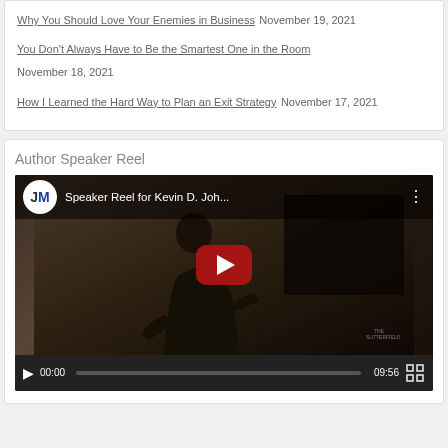Why You Should Love Your Enemies in Business November 19, 2021
You Don't Always Have to Be the Smartest One in the Room November 18, 2021
How I Learned the Hard Way to Plan an Exit Strategy November 17, 2021
Author Speaker Reel
[Figure (screenshot): YouTube video embed showing 'Speaker Reel for Kevin D. Joh...' with JM logo, a speaker on stage, YouTube play button overlay, and video controls showing 00:00 / 09:56]